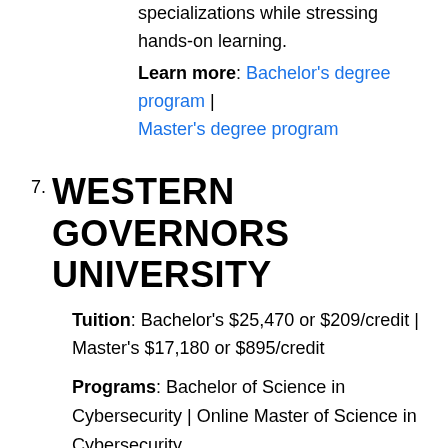specializations while stressing hands-on learning.
Learn more: Bachelor's degree program | Master's degree program
7. WESTERN GOVERNORS UNIVERSITY
Tuition: Bachelor's $25,470 or $209/credit | Master's $17,180 or $895/credit
Programs: Bachelor of Science in Cybersecurity | Online Master of Science in Cybersecurity
CAE designation: CAE-CD — Cyber Defense
Location: Salt Lake City, Utah